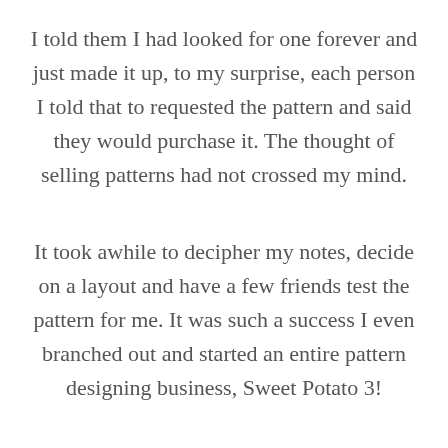I told them I had looked for one forever and just made it up, to my surprise, each person I told that to requested the pattern and said they would purchase it. The thought of selling patterns had not crossed my mind.
It took awhile to decipher my notes, decide on a layout and have a few friends test the pattern for me. It was such a success I even branched out and started an entire pattern designing business, Sweet Potato 3!